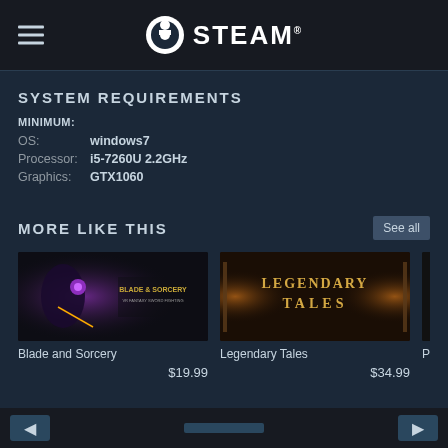STEAM
SYSTEM REQUIREMENTS
MINIMUM:
OS: windows7
Processor: i5-7260U 2.2GHz
Graphics: GTX1060
MORE LIKE THIS
[Figure (screenshot): Blade and Sorcery game thumbnail - VR fantasy sword fighting game]
Blade and Sorcery
$19.99
[Figure (screenshot): Legendary Tales game thumbnail]
Legendary Tales
$34.99
[Figure (screenshot): Partial game thumbnail showing red and blue game art, title starts with 'Proje']